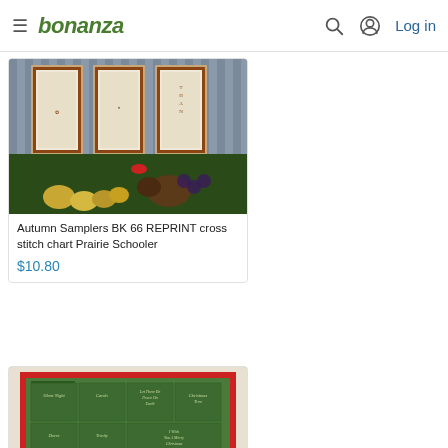bonanza — Log in
[Figure (photo): Photo of three framed cross stitch autumn samplers hanging on striped wallpaper, with a decorative arrangement of fruits, gourds, pine cones, and autumn foliage in front.]
Autumn Samplers BK 66 REPRINT cross stitch chart Prairie Schooler
$10.80
[Figure (photo): Photo of a green cross stitch Christmas sampler with a red border, featuring multiple squares with holiday motifs such as Silent Night, Angels, Christmas Tree, Doves, Santa, and other festive designs.]